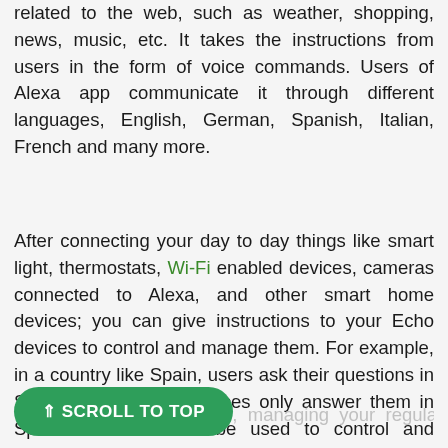related to the web, such as weather, shopping, news, music, etc. It takes the instructions from users in the form of voice commands. Users of Alexa app communicate it through different languages, English, German, Spanish, Italian, French and many more.
After connecting your day to day things like smart light, thermostats, Wi-Fi enabled devices, cameras connected to Alexa, and other smart home devices; you can give instructions to your Echo devices to control and manage them. For example, in a country like Spain, users ask their questions in Spanish, and Alexa devices only answer them in Spanish. It can also be used to control and manage
music, managing your regular